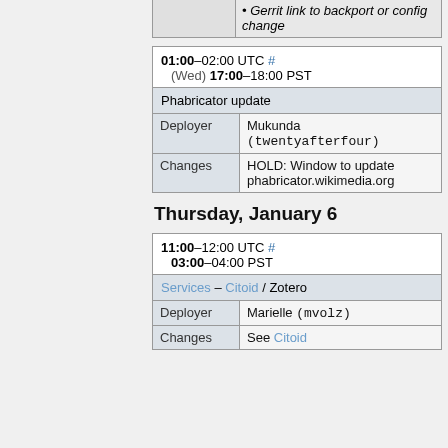|  |  |
| --- | --- |
|  | • Gerrit link to backport or config change |
| 01:00–02:00 UTC # (Wed) 17:00–18:00 PST |  |
| Phabricator update |  |
| Deployer | Mukunda (twentyafterfour) |
| Changes | HOLD: Window to update phabricator.wikimedia.org |
Thursday, January 6
| 11:00–12:00 UTC # 03:00–04:00 PST |  |
| Services – Citoid / Zotero |  |
| Deployer | Marielle (mvolz) |
| Changes | See Citoid |